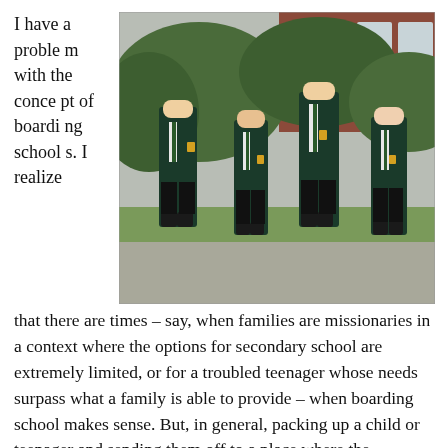I have a problem with the concept of boarding schools. I realize
[Figure (photo): Four secondary school students in dark green blazers with gold trim, white shirts and ties, walking on a paved path outside a brick building with hedges and trees in the background.]
that there are times – say, when families are missionaries in a context where the options for secondary school are extremely limited, or for a troubled teenager whose needs surpass what a family is able to provide – when boarding school makes sense. But, in general, packing up a child or teenager and sending them off to a place where the education and care and